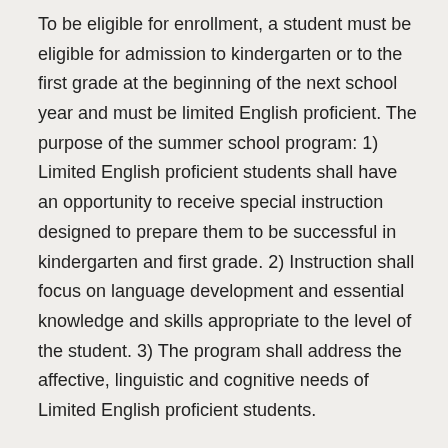To be eligible for enrollment, a student must be eligible for admission to kindergarten or to the first grade at the beginning of the next school year and must be limited English proficient. The purpose of the summer school program: 1) Limited English proficient students shall have an opportunity to receive special instruction designed to prepare them to be successful in kindergarten and first grade. 2) Instruction shall focus on language development and essential knowledge and skills appropriate to the level of the student. 3) The program shall address the affective, linguistic and cognitive needs of Limited English proficient students.